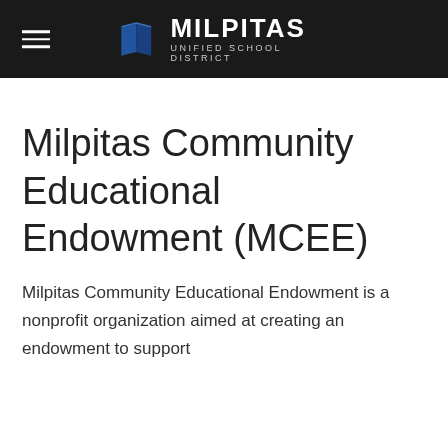MILPITAS UNIFIED SCHOOL DISTRICT
Milpitas Community Educational Endowment (MCEE)
Milpitas Community Educational Endowment is a nonprofit organization aimed at creating an endowment to support